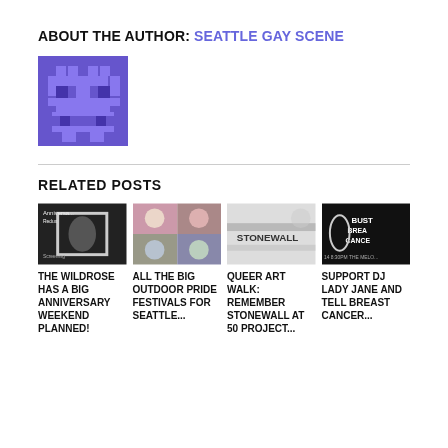ABOUT THE AUTHOR: SEATTLE GAY SCENE
[Figure (illustration): Purple pixel art avatar/logo for Seattle Gay Scene]
RELATED POSTS
[Figure (photo): The Wildrose Anniversary Redux event poster in black and white]
THE WILDROSE HAS A BIG ANNIVERSARY WEEKEND PLANNED!
[Figure (photo): Collage of outdoor pride festival photos]
ALL THE BIG OUTDOOR PRIDE FESTIVALS FOR SEATTLE...
[Figure (photo): Black and white photo of Stonewall sign]
QUEER ART WALK: REMEMBER STONEWALL AT 50 PROJECT...
[Figure (photo): Bust Breast Cancer event poster]
SUPPORT DJ LADY JANE AND TELL BREAST CANCER...